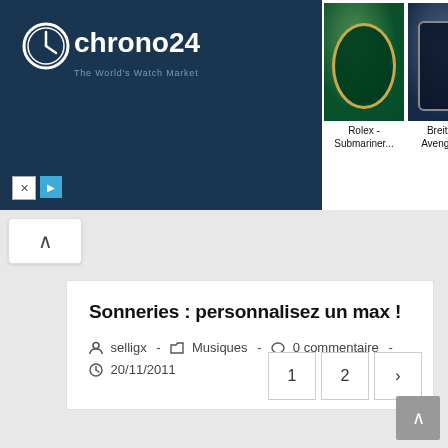[Figure (screenshot): Chrono24 advertisement banner showing watch brand logo on dark blue background on left, and four watch product images on right: Rolex Submariner, Breitling Avenger II, Rolex Oyster Precision, Omega Seamaster]
Sonneries : personnalisez un max !
selligx  -  Musiques  -  0 commentaire  -  20/11/2011